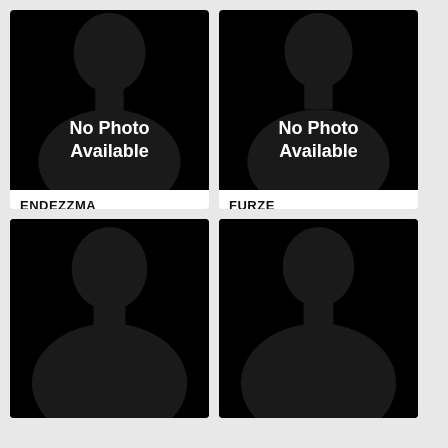[Figure (illustration): Silhouette placeholder image with 'No Photo Available' text for artist ENDEZZMA]
ENDEZZMA
Match Index: 0.277983
Artist top 50 songs
See Similar Artists
See Artist Info
[Figure (illustration): Silhouette placeholder image with 'No Photo Available' text for artist FURZE]
FURZE
Match Index: 0.273229
Artist top 50 songs
See Similar Artists
See Artist Info
[Figure (illustration): Silhouette placeholder image, partially visible, bottom-left card]
[Figure (illustration): Silhouette placeholder image, partially visible, bottom-right card]